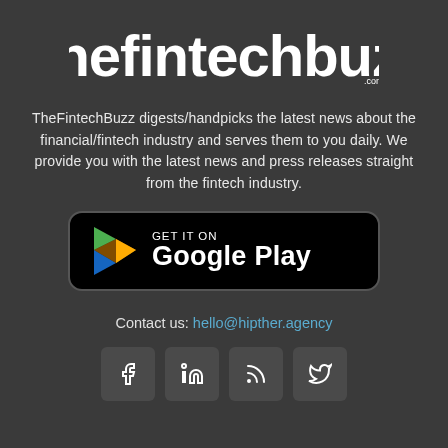[Figure (logo): TheFintechBuzz logo in white text on dark background]
TheFintechBuzz digests/handpicks the latest news about the financial/fintech industry and serves them to you daily. We provide you with the latest news and press releases straight from the fintech industry.
[Figure (other): Google Play Store download button with Google Play logo and text 'GET IT ON Google Play']
Contact us: hello@hipther.agency
[Figure (other): Social media icons: Facebook, LinkedIn, RSS feed, Twitter]